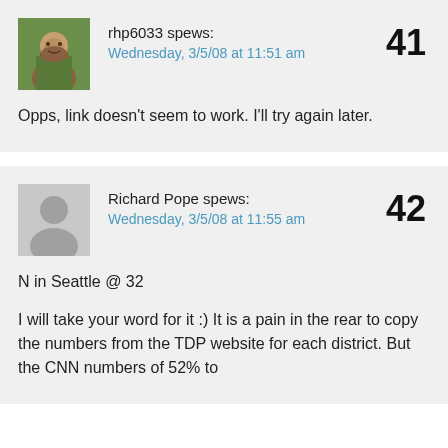rhp6033 spews:
Wednesday, 3/5/08 at 11:51 am
41
Opps, link doesn't seem to work. I'll try again later.
Richard Pope spews:
Wednesday, 3/5/08 at 11:55 am
42
N in Seattle @ 32
I will take your word for it :) It is a pain in the rear to copy the numbers from the TDP website for each district. But the CNN numbers of 52% to